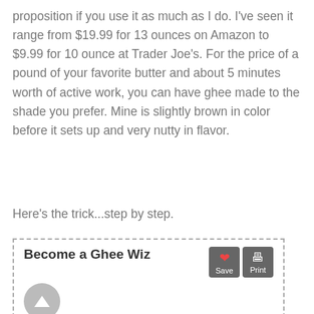proposition if you use it as much as I do. I've seen it range from $19.99 for 13 ounces on Amazon to $9.99 for 10 ounce at Trader Joe's. For the price of a pound of your favorite butter and about 5 minutes worth of active work, you can have ghee made to the shade you prefer. Mine is slightly brown in color before it sets up and very nutty in flavor.
Here's the trick...step by step.
Become a Ghee Wiz
Ingredients